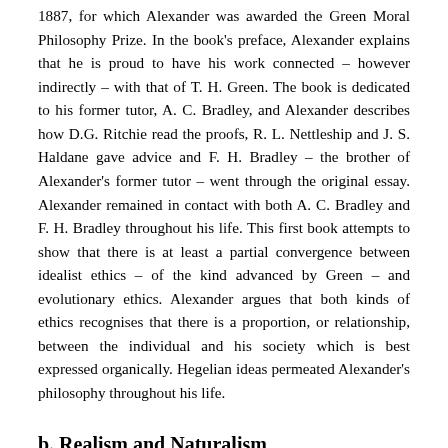1887, for which Alexander was awarded the Green Moral Philosophy Prize. In the book's preface, Alexander explains that he is proud to have his work connected – however indirectly – with that of T. H. Green. The book is dedicated to his former tutor, A. C. Bradley, and Alexander describes how D.G. Ritchie read the proofs, R. L. Nettleship and J. S. Haldane gave advice and F. H. Bradley – the brother of Alexander's former tutor – went through the original essay. Alexander remained in contact with both A. C. Bradley and F. H. Bradley throughout his life. This first book attempts to show that there is at least a partial convergence between idealist ethics – of the kind advanced by Green – and evolutionary ethics. Alexander argues that both kinds of ethics recognises that there is a proportion, or relationship, between the individual and his society which is best expressed organically. Hegelian ideas permeated Alexander's philosophy throughout his life.
b. Realism and Naturalism